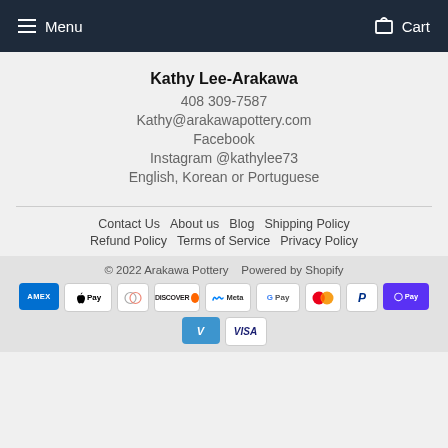Menu   Cart
Kathy Lee-Arakawa
408 309-7587
Kathy@arakawapottery.com
Facebook
Instagram @kathylee73
English, Korean or Portuguese
Contact Us   About us   Blog   Shipping Policy   Refund Policy   Terms of Service   Privacy Policy
© 2022 Arakawa Pottery   Powered by Shopify
[Figure (other): Payment method icons: American Express, Apple Pay, Diners Club, Discover, Meta Pay, Google Pay, Mastercard, PayPal, Shop Pay, Venmo, Visa]